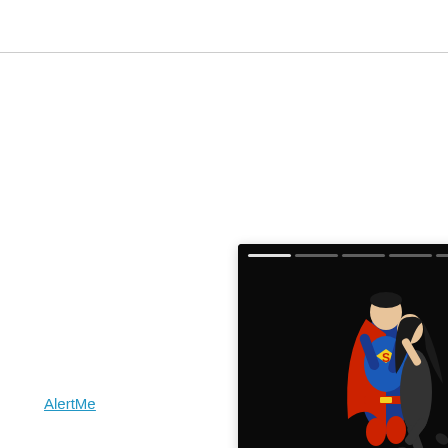[Figure (screenshot): A news card UI showing a Superman and Lois Lane collectible statue figurine against a dark background. The card has a progress bar at the top, three-dot menu and X close button, a yellow circular arrow button, and a bold headline at the bottom.]
Iron Studios announces new Superman and Lois statue
AlertMe